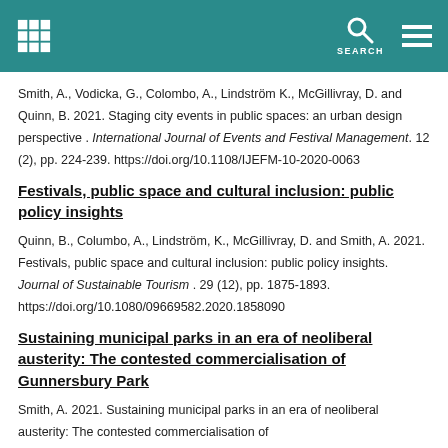SEARCH
Smith, A., Vodicka, G., Colombo, A., Lindström K., McGillivray, D. and Quinn, B. 2021. Staging city events in public spaces: an urban design perspective . International Journal of Events and Festival Management. 12 (2), pp. 224-239. https://doi.org/10.1108/IJEFM-10-2020-0063
Festivals, public space and cultural inclusion: public policy insights
Quinn, B., Columbo, A., Lindström, K., McGillivray, D. and Smith, A. 2021. Festivals, public space and cultural inclusion: public policy insights. Journal of Sustainable Tourism . 29 (12), pp. 1875-1893. https://doi.org/10.1080/09669582.2020.1858090
Sustaining municipal parks in an era of neoliberal austerity: The contested commercialisation of Gunnersbury Park
Smith, A. 2021. Sustaining municipal parks in an era of neoliberal austerity: The contested commercialisation of